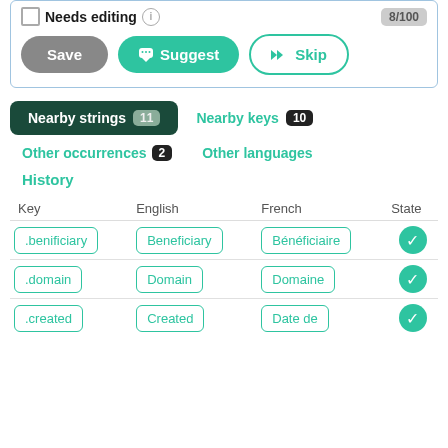Needs editing  8/100
[Figure (screenshot): Three buttons: Save (gray), Suggest (green with icon), Skip (green outline with arrows icon)]
Nearby strings 11   Nearby keys 10
Other occurrences 2   Other languages
History
| Key | English | French | State |
| --- | --- | --- | --- |
| .benificiary | Beneficiary | Bénéficiaire | ✔ |
| .domain | Domain | Domaine | ✔ |
| .created | Created | Date de | ✔ |